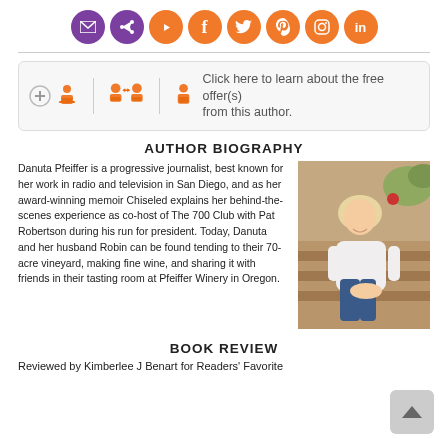[Figure (infographic): Row of social media icon circles: email (purple), share (purple), YouTube (orange), Facebook (orange), Twitter (orange), Pinterest (orange), Instagram (orange), LinkedIn (orange)]
[Figure (infographic): CTA bar with follow/comparison icons and text: Click here to learn about the free offer(s) from this author.]
AUTHOR BIOGRAPHY
Danuta Pfeiffer is a progressive journalist, best known for her work in radio and television in San Diego, and as her award-winning memoir Chiseled explains her behind-the-scenes experience as co-host of The 700 Club with Pat Robertson during his run for president. Today, Danuta and her husband Robin can be found tending to their 70-acre vineyard, making fine wine, and sharing it with friends in their tasting room at Pfeiffer Winery in Oregon.
[Figure (photo): Portrait photo of a smiling blonde woman in a white shirt and jeans, seated on stone steps outdoors.]
BOOK REVIEW
Reviewed by Kimberlee J Benart for Readers' Favorite